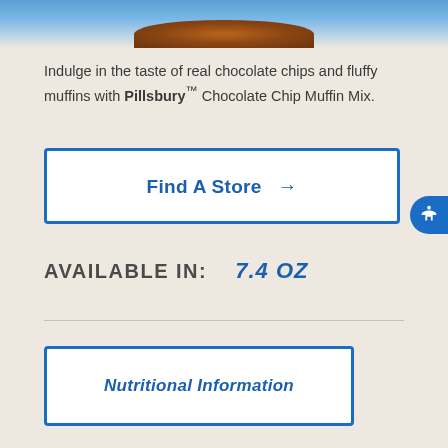[Figure (photo): Top portion of a Pillsbury Chocolate Chip Muffin Mix product package, showing the blue packaging and a muffin on top]
Indulge in the taste of real chocolate chips and fluffy muffins with Pillsbury™ Chocolate Chip Muffin Mix.
Find A Store →
AVAILABLE IN:  7.4 OZ
Nutritional Information